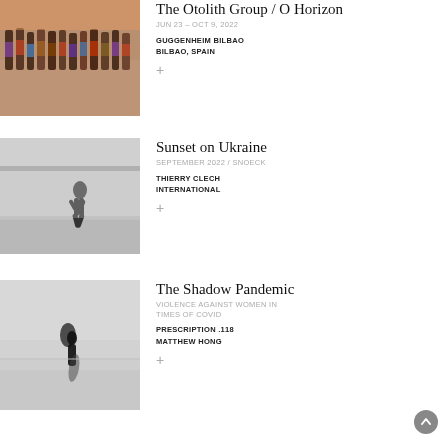[Figure (photo): Group of people in colorful traditional clothing standing in a line, warm sunset tones]
The Otolith Group / O Horizon
JUN 23 – OCT 9, 2022
GUGGENHEIM BILBAO
BILBAO, SPAIN
[Figure (photo): Black and white photo of a person running or skateboarding on a street or plaza]
Sunset on Ukraine
SEPTEMBER 2022 / SNOECK
THIERRY CLECH
INTERNATIONAL
[Figure (photo): Black and white photo of a lone figure standing in an open misty or foggy landscape]
The Shadow Pandemic
VIOLENCE AGAINST WOMEN IN TIMES OF COVID
PRESCRIPTION .118
MATTHEW HONG